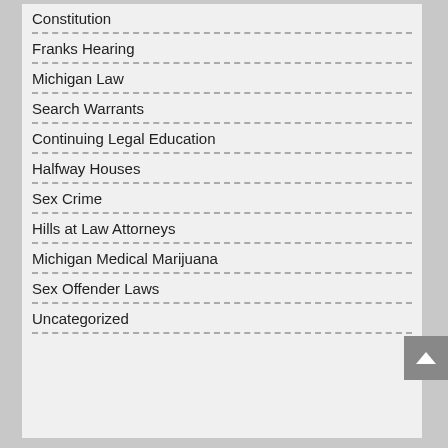Constitution
Franks Hearing
Michigan Law
Search Warrants
Continuing Legal Education
Halfway Houses
Sex Crime
Hills at Law Attorneys
Michigan Medical Marijuana
Sex Offender Laws
Uncategorized